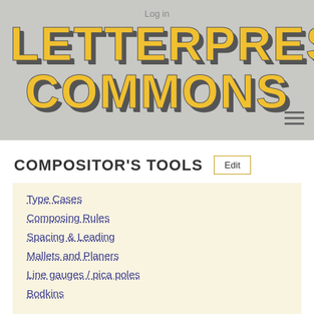Log in
LETTERPRESS COMMONS
COMPOSITOR'S TOOLS
Type Cases
Composing Rules
Spacing & Leading
Mallets and Planers
Line gauges / pica poles
Bodkins